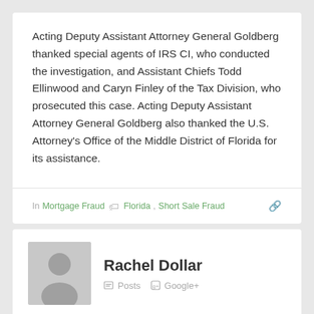Acting Deputy Assistant Attorney General Goldberg thanked special agents of IRS CI, who conducted the investigation, and Assistant Chiefs Todd Ellinwood and Caryn Finley of the Tax Division, who prosecuted this case. Acting Deputy Assistant Attorney General Goldberg also thanked the U.S. Attorney's Office of the Middle District of Florida for its assistance.
In Mortgage Fraud  Florida, Short Sale Fraud
Rachel Dollar  Posts  Google+